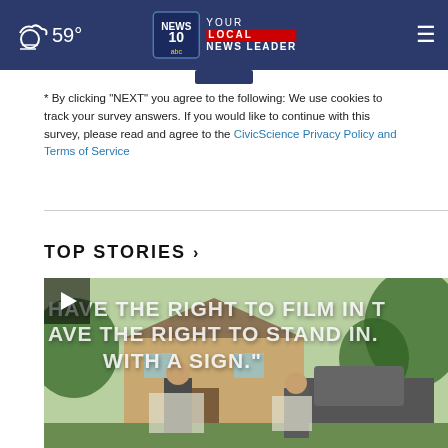59° NEWS 10 YOUR LOCAL NEWS LEADER
* By clicking "NEXT" you agree to the following: We use cookies to track your survey answers. If you would like to continue with this survey, please read and agree to the CivicScience Privacy Policy and Terms of Service
TOP STORIES ›
[Figure (screenshot): Video thumbnail showing two people holding signs with overlay text reading 'HAVE THE RIGHT TO FILM IN...' and 'AVE THE RIGHT TO STAND IN...' and 'WITH A SIGN.' with a play button in the top left corner. Background shows a house and trees.]